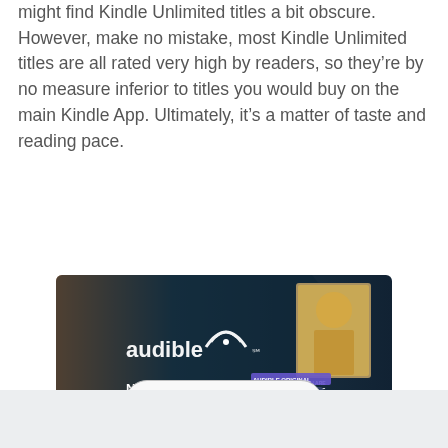might find Kindle Unlimited titles a bit obscure. However, make no mistake, most Kindle Unlimited titles are all rated very high by readers, so they're by no measure inferior to titles you would buy on the main Kindle App. Ultimately, it's a matter of taste and reading pace.
[Figure (screenshot): Audible advertisement banner showing 'audible' logo with streaming symbol, text 'Now streaming: podcasts, originals, and more.' with book cover thumbnails including 'You Are the One', 'Honor Yourself' and 'GURU' on dark teal/brown gradient background.]
Read More ∨